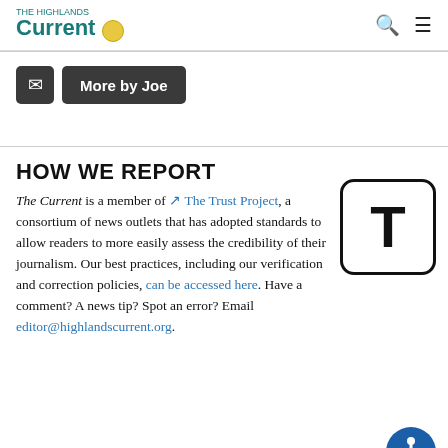The Highlands Current
More by Joe
HOW WE REPORT
The Current is a member of The Trust Project, a consortium of news outlets that has adopted standards to allow readers to more easily assess the credibility of their journalism. Our best practices, including our verification and correction policies, can be accessed here. Have a comment? A news tip? Spot an error? Email editor@highlandscurrent.org.
[Figure (logo): Trust Project logo: large letter T in a rounded square box]
[Figure (logo): Accessibility icon: person with arms out in blue circle]
BEHIND THE STORY